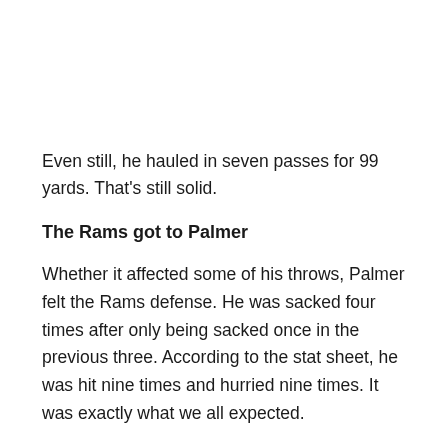Even still, he hauled in seven passes for 99 yards. That's still solid.
The Rams got to Palmer
Whether it affected some of his throws, Palmer felt the Rams defense. He was sacked four times after only being sacked once in the previous three. According to the stat sheet, he was hit nine times and hurried nine times. It was exactly what we all expected.
The Cardinals offense was still moving the ball